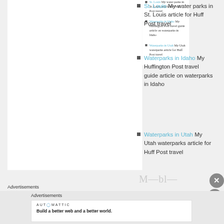St. Louis My water parks in St. Louis article for Huff Post travel
Waterparks in Idaho My Huffington Post travel guide article on waterparks in Idaho
Waterparks in Utah My Utah waterparks article for Huff Post travel
Advertisements
AUTOMATTIC Build a better web and a better world.